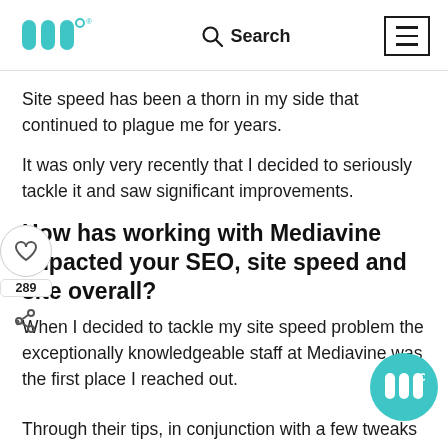Mediavine logo, Search, Menu
Site speed has been a thorn in my side that continued to plague me for years.
It was only very recently that I decided to seriously tackle it and saw significant improvements.
How has working with Mediavine impacted your SEO, site speed and site overall?
When I decided to tackle my site speed problem the exceptionally knowledgeable staff at Mediavine was the first place I reached out.
Through their tips, in conjunction with a few tweaks